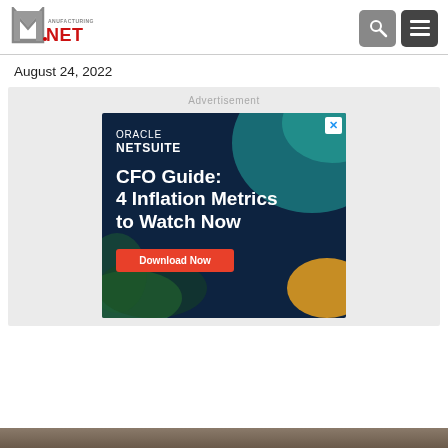[Figure (logo): Manufacturing.NET logo — stylized M with red NET text]
August 24, 2022
[Figure (infographic): Oracle NetSuite advertisement: CFO Guide: 4 Inflation Metrics to Watch Now. Download Now button. Dark navy background with teal and orange blobs.]
[Figure (photo): Partial bottom image strip, brown/grey tones]